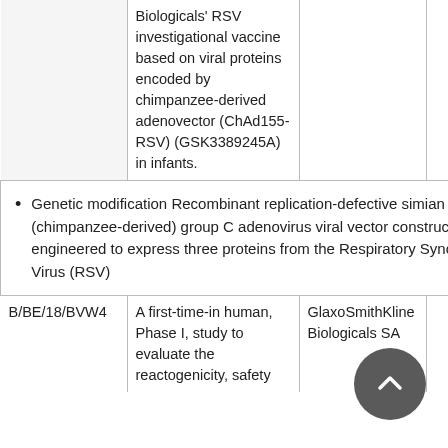|  | Description | Sponsor |  |
| --- | --- | --- | --- |
|  | Biologicals' RSV investigational vaccine based on viral proteins encoded by chimpanzee-derived adenovector (ChAd155-RSV) (GSK3389245A) in infants. |  |  |
| [bullet] Genetic modification Recombinant replication-defective simian (chimpanzee-derived) group C adenovirus viral vector construct engineered to express three proteins from the Respiratory Syncytial Virus (RSV) |  |  |  |
| B/BE/18/BVW4 | A first-time-in human, Phase I, study to evaluate the reactogenicity, safety | GlaxoSmithKline Biologicals SA |  |